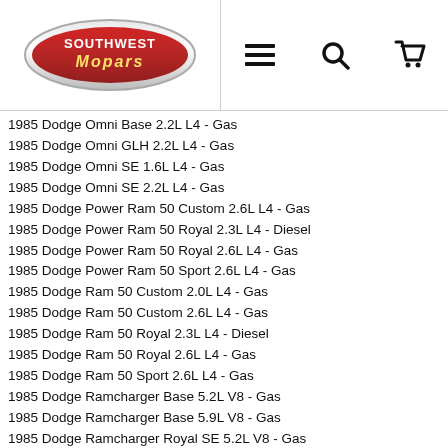[Figure (logo): Southwest Mopars logo — oval chrome badge with red and blue lettering]
1985 Dodge Omni Base 2.2L L4 - Gas
1985 Dodge Omni GLH 2.2L L4 - Gas
1985 Dodge Omni SE 1.6L L4 - Gas
1985 Dodge Omni SE 2.2L L4 - Gas
1985 Dodge Power Ram 50 Custom 2.6L L4 - Gas
1985 Dodge Power Ram 50 Royal 2.3L L4 - Diesel
1985 Dodge Power Ram 50 Royal 2.6L L4 - Gas
1985 Dodge Power Ram 50 Sport 2.6L L4 - Gas
1985 Dodge Ram 50 Custom 2.0L L4 - Gas
1985 Dodge Ram 50 Custom 2.6L L4 - Gas
1985 Dodge Ram 50 Royal 2.3L L4 - Diesel
1985 Dodge Ram 50 Royal 2.6L L4 - Gas
1985 Dodge Ram 50 Sport 2.6L L4 - Gas
1985 Dodge Ramcharger Base 5.2L V8 - Gas
1985 Dodge Ramcharger Base 5.9L V8 - Gas
1985 Dodge Ramcharger Royal SE 5.2L V8 - Gas
1985 Dodge Ramcharger Royal SE 5.9L V8 - Gas
1985 Dodge W100 Custom 3.7L L6 - Gas
1985 Dodge W100 Custom 5.2L V8 - Gas
1985 Dodge W100 Custom 5.9L V8 - Gas
1985 Dodge W150 Base 3.7L L6 - Gas
1985 Dodge W150 Base 5.2L V8 - Gas
1985 Dodge W150 Base 5.9L V8 - Gas
1985 Dodge W250 Base 5.2L V8 - Gas
1985 Dodge W250 Base 5.9L V8 - Gas